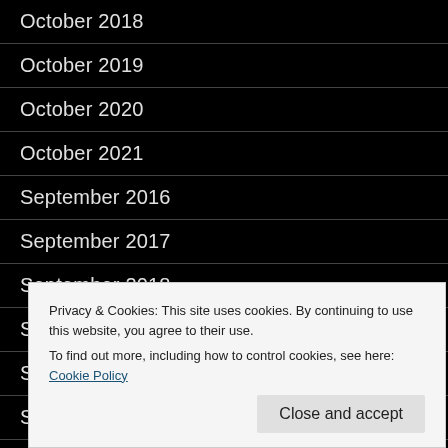October 2018
October 2019
October 2020
October 2021
September 2016
September 2017
September 2018
September 2019
September 2020
Privacy & Cookies: This site uses cookies. By continuing to use this website, you agree to their use. To find out more, including how to control cookies, see here: Cookie Policy
Close and accept